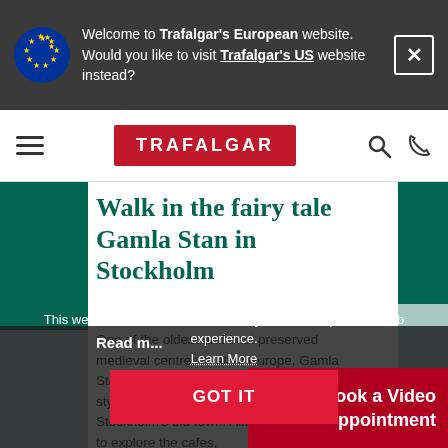Welcome to Trafalgar's European website. Would you like to visit Trafalgar's US website instead?
[Figure (logo): Trafalgar red logo on nav bar]
Walk in the fairy tale Gamla Stan in Stockholm
One of the oldest and best preserved medieval centres in all of Europe, Gamla Stan is a maze of alleyways and baroque style architecture in the heart of Stockholm's old town. Allow yourself time to explore the cafes,
Read m...
ook a Video ppointment
This website uses cookies to deliver you the best possible web experience.
Learn More
GOT IT